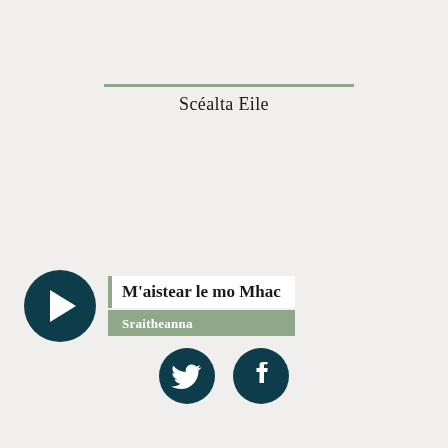Scéalta Eile
[Figure (other): Play button circle icon with title card: M'aistear le mo Mhac with tag Sraitheanna]
[Figure (other): Twitter and Facebook social media icons in dark teal circles]